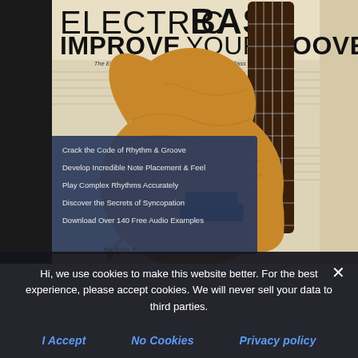[Figure (photo): Book cover for 'Electric Bass: Improve Your Groove – The Essential Guide to Mastering Time and Feel on Bass Guitar'. Shows a wooden electric bass guitar against a music sheet background. Includes a dark blue overlay panel listing: Crack the Code of Rhythm & Groove, Develop Incredible Note Placement & Feel, Play Complex Rhythms Accurately, Discover the Secrets of Syncopation, Download Over 140 Free Audio Examples. Author listed as By John S...]
Hi, we use cookies to make this website better. For the best experience, please accept cookies. We will never sell your data to third parties.
I Accept
No Cookies
Privacy policy